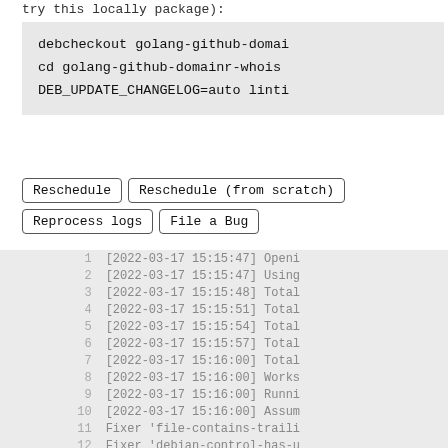try this locally package):
debcheckout golang-github-domai
cd golang-github-domainr-whois
DEB_UPDATE_CHANGELOG=auto linti
Reschedule   Reschedule (from scratch)   Reprocess logs   File a Bug
| # | Log |
| --- | --- |
| 1 | [2022-03-17 15:15:47] Openi |
| 2 | [2022-03-17 15:15:47] Using |
| 3 | [2022-03-17 15:15:48] Total |
| 4 | [2022-03-17 15:15:51] Total |
| 5 | [2022-03-17 15:15:54] Total |
| 6 | [2022-03-17 15:15:57] Total |
| 7 | [2022-03-17 15:16:00] Total |
| 8 | [2022-03-17 15:16:00] Works |
| 9 | [2022-03-17 15:16:00] Runni |
| 10 | [2022-03-17 15:16:00] Assum |
| 11 | Fixer 'file-contains-traili |
| 12 | Fixer 'debian-control-has-u |
| 13 | Fixer 'rules-not-executable |
| 14 | Fixer 'no-copyright-file' |